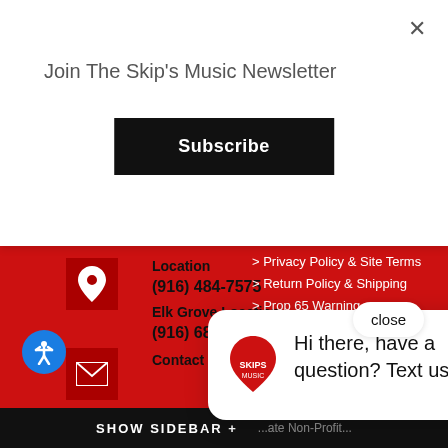Join The Skip's Music Newsletter
Subscribe
Location
(916) 484-7575
Elk Grove Location
(916) 686-5666
Contact C...
> Privacy Policy & Site Terms
> Return Policy & Shipping
> Prop 65 Warning
Skip's Services
close
Hi there, have a question? Text us here.
Custom Audio & Video Installation
Music Instrument C...
Clinics & Workshops...
Support Non-Profits...
SHOW SIDEBAR +